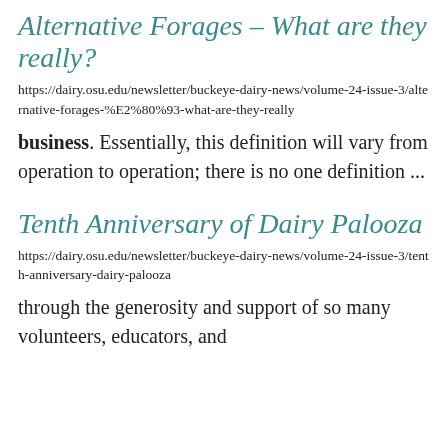Alternative Forages – What are they really?
https://dairy.osu.edu/newsletter/buckeye-dairy-news/volume-24-issue-3/alternative-forages-%E2%80%93-what-are-they-really
business. Essentially, this definition will vary from operation to operation; there is no one definition ...
Tenth Anniversary of Dairy Palooza
https://dairy.osu.edu/newsletter/buckeye-dairy-news/volume-24-issue-3/tenth-anniversary-dairy-palooza
through the generosity and support of so many volunteers, educators, and